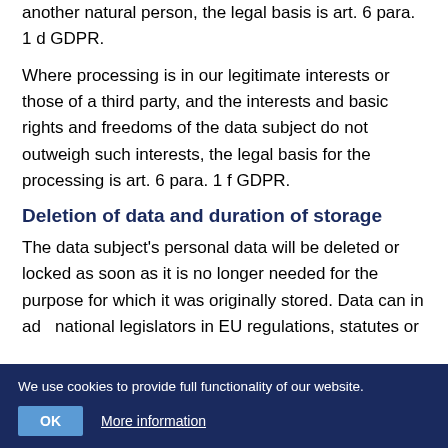another natural person, the legal basis is art. 6 para. 1 d GDPR.
Where processing is in our legitimate interests or those of a third party, and the interests and basic rights and freedoms of the data subject do not outweigh such interests, the legal basis for the processing is art. 6 para. 1 f GDPR.
Deletion of data and duration of storage
The data subject's personal data will be deleted or locked as soon as it is no longer needed for the purpose for which it was originally stored. Data can in ad... national legislators in EU regulations, statutes or
We use cookies to provide full functionality of our website.